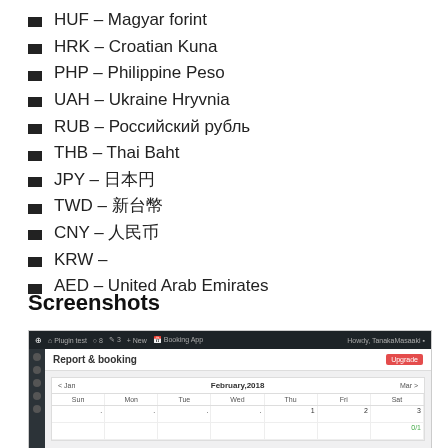HUF – Magyar forint
HRK – Croatian Kuna
PHP – Philippine Peso
UAH – Ukraine Hryvnia
RUB – Российский рубль
THB – Thai Baht
JPY – 日本円
TWD – 新台幣
CNY – 人民币
KRW –
AED – United Arab Emirates
Screenshots
[Figure (screenshot): WordPress admin screenshot showing Report & booking calendar view for February 2018 with navigation bar, sidebar, Upgrade button, and calendar grid with days Sun–Sat]